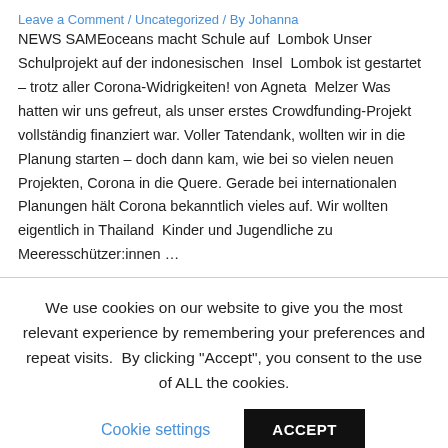Leave a Comment / Uncategorized /  By Johanna
NEWS SAMEoceans macht Schule auf  Lombok Unser Schulprojekt auf der indonesischen  Insel  Lombok ist gestartet – trotz aller Corona-Widrigkeiten! von Agneta  Melzer Was hatten wir uns gefreut, als unser erstes Crowdfunding-Projekt vollständig finanziert war. Voller Tatendank, wollten wir in die Planung starten – doch dann kam, wie bei so vielen neuen Projekten, Corona in die Quere. Gerade bei internationalen Planungen hält Corona bekanntlich vieles auf. Wir wollten eigentlich in Thailand  Kinder und Jugendliche zu Meeresschützer:innen …
We use cookies on our website to give you the most relevant experience by remembering your preferences and repeat visits.  By clicking "Accept", you consent to the use of ALL the cookies.
Cookie settings
ACCEPT